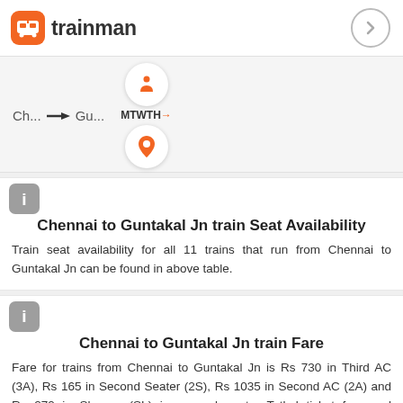[Figure (logo): Trainman logo with orange train icon and text 'trainman']
[Figure (infographic): Route bar showing Ch... arrow Gu... with seat icon, MTWTH days, and location pin icon]
Chennai to Guntakal Jn train Seat Availability
Train seat availability for all 11 trains that run from Chennai to Guntakal Jn can be found in above table.
Chennai to Guntakal Jn train Fare
Fare for trains from Chennai to Guntakal Jn is Rs 730 in Third AC (3A), Rs 165 in Second Seater (2S), Rs 1035 in Second AC (2A) and Rs 270 in Sleeper (SL) in general quota. Tatkal ticket fare and premium tatkal fare in this route starts from Rs 1105 in Third AC (3A), Rs 190 in Second Seater